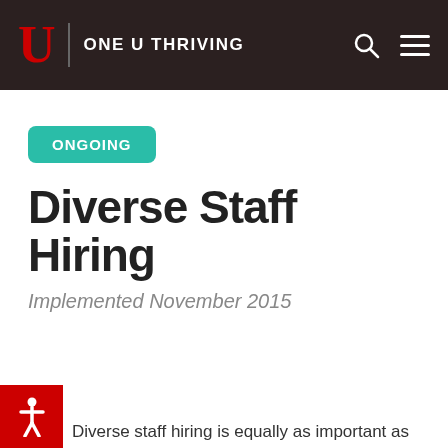U | ONE U THRIVING
ONGOING
Diverse Staff Hiring
Implemented November 2015
Diverse staff hiring is equally as important as